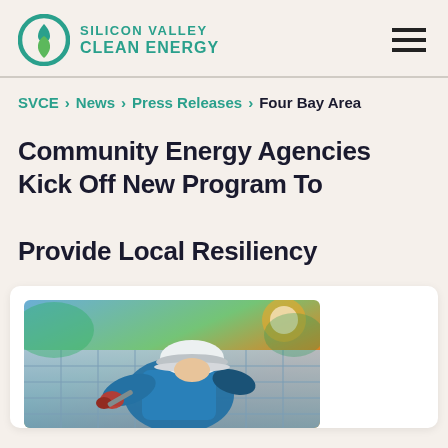Silicon Valley Clean Energy
SVCE > News > Press Releases > Four Bay Area
Community Energy Agencies Kick Off New Program To Provide Local Resiliency
[Figure (photo): Worker in blue uniform and white hard hat installing or maintaining solar panels, shown from above, holding tools on solar panel surface with warm sunlight in background.]